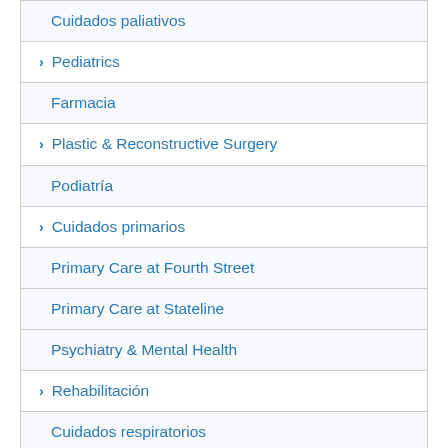Cuidados paliativos
> Pediatrics
Farmacia
> Plastic & Reconstructive Surgery
Podiatría
> Cuidados primarios
Primary Care at Fourth Street
Primary Care at Stateline
Psychiatry & Mental Health
> Rehabilitación
Cuidados respiratorios
Reumatología
Sleep Studies & Lab (Laboratorio de estudios de sueño)